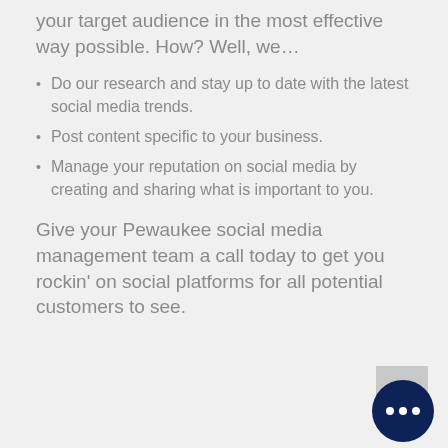your target audience in the most effective way possible. How? Well, we...
Do our research and stay up to date with the latest social media trends.
Post content specific to your business.
Manage your reputation on social media by creating and sharing what is important to you.
Give your Pewaukee social media management team a call today to get you rockin' on social platforms for all potential customers to see.